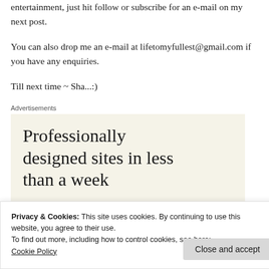entertainment, just hit follow or subscribe for an e-mail on my next post.
You can also drop me an e-mail at lifetomyfullest@gmail.com if you have any enquiries.
Till next time ~ Sha...:)
Advertisements
[Figure (other): Advertisement banner with text: Professionally designed sites in less than a week]
Privacy & Cookies: This site uses cookies. By continuing to use this website, you agree to their use.
To find out more, including how to control cookies, see here:
Cookie Policy
Close and accept